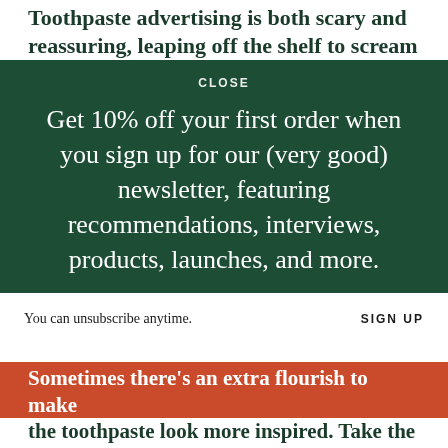Toothpaste advertising is both scary and reassuring, leaping off the shelf to scream
[Figure (infographic): Dark green modal overlay with CLOSE label at top, newsletter signup prompt reading: Get 10% off your first order when you sign up for our (very good) newsletter, featuring recommendations, interviews, products, launches, and more. Below is a white sign-up bar with text 'You can unsubscribe anytime.' and 'SIGN UP' button.]
Sometimes there's an extra flourish to make the toothpaste look more inspired. Take the
CLEANS! GUARDS! text while declaring that under its care you will be disease-free you Sensibly too—evoke brand features the word 'fresh' in a graphic that resembles an exploding firework.